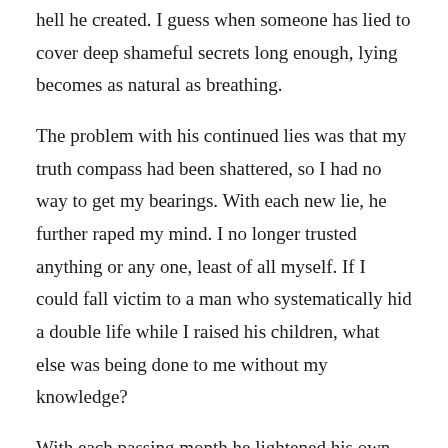hell he created. I guess when someone has lied to cover deep shameful secrets long enough, lying becomes as natural as breathing.
The problem with his continued lies was that my truth compass had been shattered, so I had no way to get my bearings. With each new lie, he further raped my mind. I no longer trusted anything or any one, least of all myself. If I could fall victim to a man who systematically hid a double life while I raised his children, what else was being done to me without my knowledge?
With each passing month he lightened his own load by revealing more and more sick, illegal, and deviant acts. Needless to say, with each new tidbit of supposed “complete truth”, I sank deeper into the abyss, my reality again shaken. Each time I had tried to grieve and